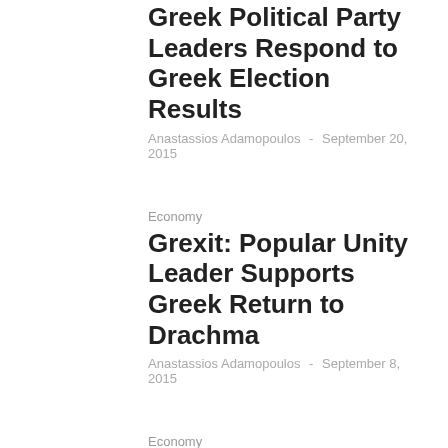Greek Political Party Leaders Respond to Greek Election Results
Anastassios Adamopoulos  -  September 20, 2015
Economy
Grexit: Popular Unity Leader Supports Greek Return to Drachma
Anastassios Adamopoulos  -  September 8, 2015
Economy
Protests During First Day of Thessaloniki International Fair
Anastassios Adamopoulos  -  September 5, 2015
Greece
Greek Elections: Konstantopoulou Intends to Run Independently and Cooperate with Popular Unity